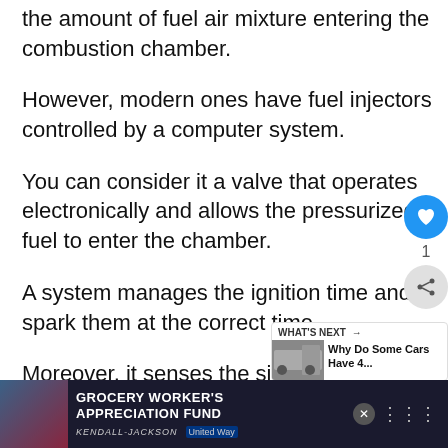the amount of fuel air mixture entering the combustion chamber.
However, modern ones have fuel injectors controlled by a computer system.
You can consider it a valve that operates electronically and allows the pressurized fuel to enter the chamber.
A system manages the ignition time and spark them at the correct time.
Moreover, it senses the signal by knock sensors and controls the amount of burning fuel and p...
[Figure (screenshot): UI overlay with heart (like) button in blue circle showing count 1, and a share button below it]
[Figure (screenshot): What's Next panel showing link to 'Why Do Some Cars Have 4...' article with car thumbnail image]
[Figure (screenshot): Bottom advertisement banner for Grocery Worker's Appreciation Fund featuring Kendall-Jackson and United Way logos]